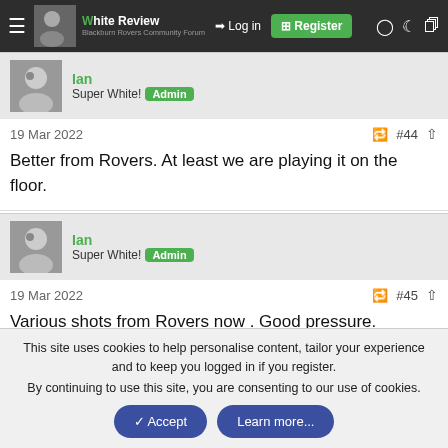Ian | Site Review — Log in | Register
[Figure (screenshot): User avatar for Ian - black and white photo of a man]
Ian
Super White! Admin
19 Mar 2022  #44
Better from Rovers. At least we are playing it on the floor.
[Figure (screenshot): User avatar for Ian - black and white photo of a man]
Ian
Super White! Admin
19 Mar 2022  #45
Various shots from Rovers now . Good pressure. Different team this half.
This site uses cookies to help personalise content, tailor your experience and to keep you logged in if you register.
By continuing to use this site, you are consenting to our use of cookies.